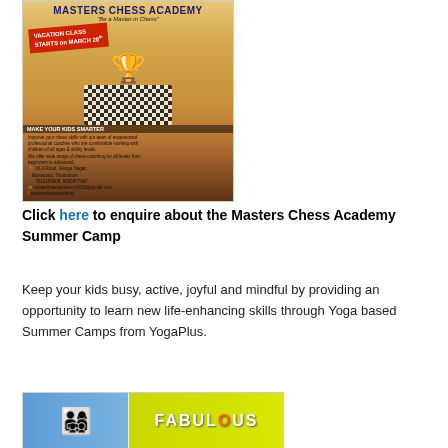[Figure (photo): Masters Chess Academy advertisement poster showing a chess board with pieces, a golden trophy, children playing chess, vacation class information, and contact details. Text includes 'MASTERS CHESS ACADEMY', 'Be a Master in Chess', 'VACATION CLASS STARTS on MARCH 28th', 'MAKE YOUR KIDS SMARTER', address MLA Road, Ganga Nagar, Manacaud, Trivandrum, phone 7012106608, 9995877987.]
Click here to enquire about the Masters Chess Academy Summer Camp
Keep your kids busy, active, joyful and mindful by providing an opportunity to learn new life-enhancing skills through Yoga based Summer Camps from YogaPlus.
[Figure (photo): YogaPlus Summer Camp advertisement showing children with arms raised and the word FABULOUS in large yellow-green text on right side.]